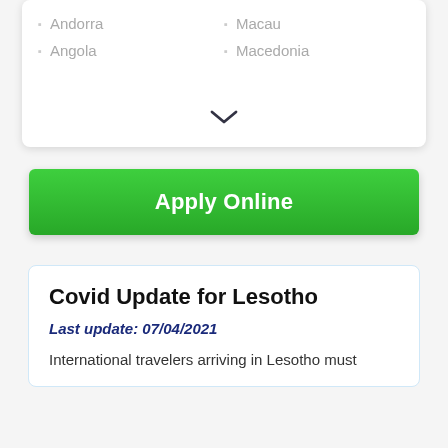Andorra
Angola
Macau
Macedonia
[Figure (other): Chevron / expand more icon (down arrow)]
Apply Online
Covid Update for Lesotho
Last update: 07/04/2021
International travelers arriving in Lesotho must